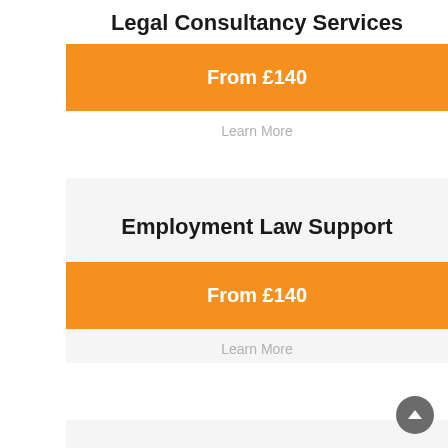Legal Consultancy Services
From £140
Learn More
Employment Law Support
From £140
Learn More